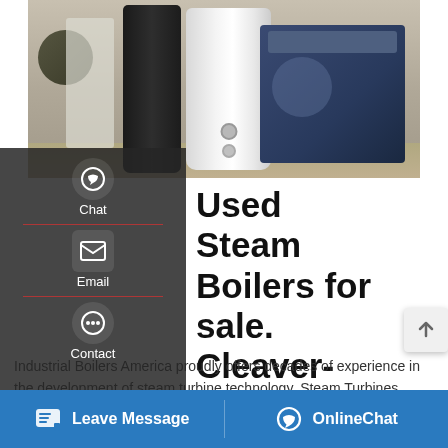[Figure (photo): Industrial workshop with white cylindrical steam boiler in center, dark boiler unit to its left, and blue industrial machine/generator on the right. Concrete factory floor visible.]
Used Steam Boilers for sale. Cleaver-Brooks equipment
Industrial Boilers America proudly offers decades of experience in the development of steam turbine technology. Steam Turbines assist in the transfer of steam in many electrical generation facilities in the cogeneration, biomass, waste-to-energy, and IBA Steam Turbines also have a wide application in the industrial sector. We know that
Leave Message | OnlineChat